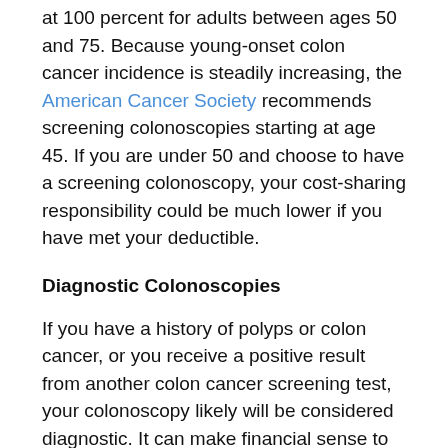at 100 percent for adults between ages 50 and 75. Because young-onset colon cancer incidence is steadily increasing, the American Cancer Society recommends screening colonoscopies starting at age 45. If you are under 50 and choose to have a screening colonoscopy, your cost-sharing responsibility could be much lower if you have met your deductible.
Diagnostic Colonoscopies
If you have a history of polyps or colon cancer, or you receive a positive result from another colon cancer screening test, your colonoscopy likely will be considered diagnostic. It can make financial sense to schedule a diagnostic